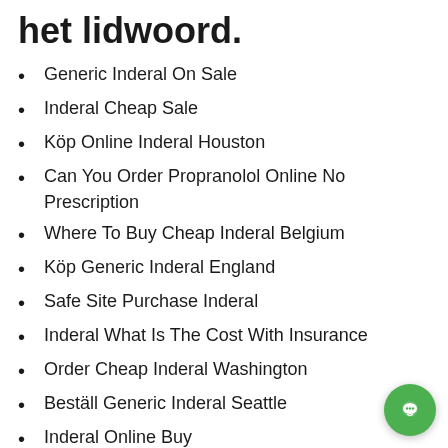het lidwoord.
Generic Inderal On Sale
Inderal Cheap Sale
Köp Online Inderal Houston
Can You Order Propranolol Online No Prescription
Where To Buy Cheap Inderal Belgium
Köp Generic Inderal England
Safe Site Purchase Inderal
Inderal What Is The Cost With Insurance
Order Cheap Inderal Washington
Beställ Generic Inderal Seattle
Inderal Online Buy
Canada Drugs Propranolol
Buy Inderal Online Uk
Where To Order Cheap Inderal Gb
Cheap Generic Inderal Buy